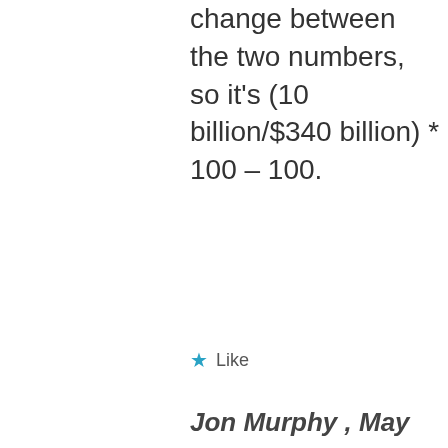change between the two numbers, so it's (10 billion/$340 billion) * 100 – 100.
★ Like
Jon Murphy , May 23, 2015 at 7:59 am
[Figure (photo): Small avatar photo of a person outdoors on rocks]
Thanks Jon.
Liking the blog